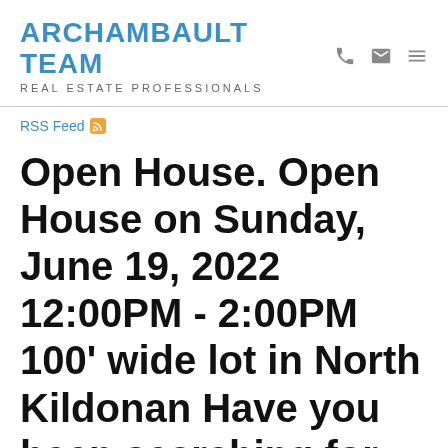ARCHAMBAULT TEAM
REAL ESTATE PROFESSIONALS
RSS Feed
Open House. Open House on Sunday, June 19, 2022 12:00PM - 2:00PM 100' wide lot in North Kildonan Have you been searching for that city home on a